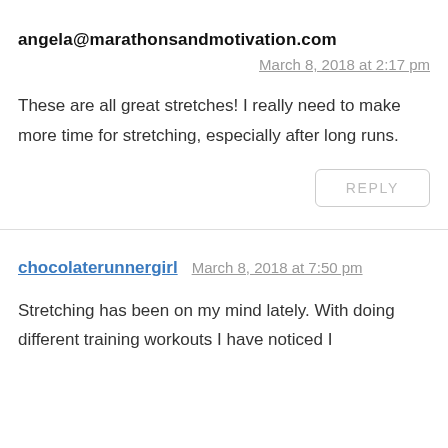angela@marathonsandmotivation.com
March 8, 2018 at 2:17 pm
These are all great stretches! I really need to make more time for stretching, especially after long runs.
REPLY
chocolaterunnergirl
March 8, 2018 at 7:50 pm
Stretching has been on my mind lately. With doing different training workouts I have noticed I